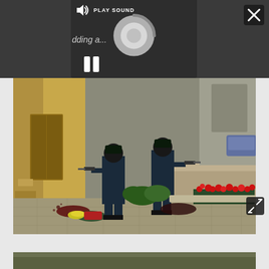[Figure (screenshot): Dark UI overlay with media player panel showing PLAY SOUND button with speaker icon, a circular loading spinner, pause button (two vertical bars), a close (X) button top-right, and an expand/fullscreen button bottom-right. Background is dark gray.]
[Figure (screenshot): Counter-Strike video game screenshot showing two soldiers/CT players in black tactical gear on a cobblestone street, with a downed enemy player on the ground with red/green markings. The scene is set in a Mediterranean-style village with yellow building walls, wooden doors, and red flower bushes.]
[Figure (screenshot): Partial bottom strip of another game screenshot, partially visible at the very bottom of the page.]